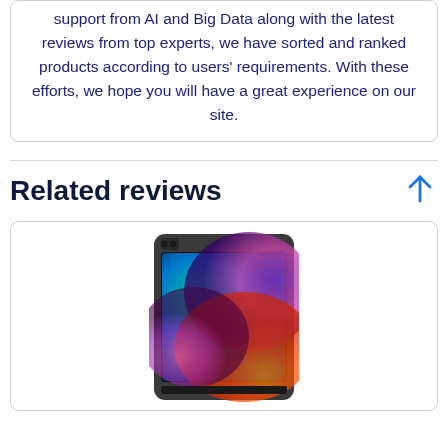support from AI and Big Data along with the latest reviews from top experts, we have sorted and ranked products according to users' requirements. With these efforts, we hope you will have a great experience on our site.
Related reviews
[Figure (photo): Photo of an iPad Pro tablet showing a colorful abstract wallpaper with green, blue, purple, pink and orange swirling colors, displayed in portrait mode with a dark/space gray aluminum frame.]